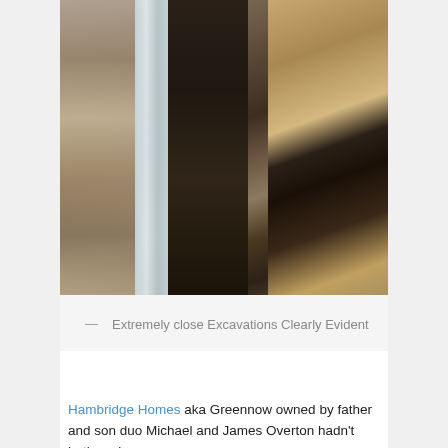[Figure (photo): Close-up photograph of an excavation site showing a stone/brick wall on the left, a metal/plastic sheet beam in the centre, a dark soil trench, and wooden scaffolding boards on the right side.]
— Extremely close Excavations Clearly Evident
Hambridge Homes aka Greennow owned by father and son duo Michael and James Overton hadn't bothered